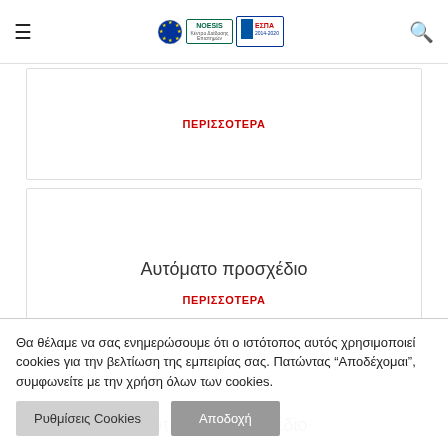Navigation header with hamburger menu, EU/NOESIS/ESPA logos, and search icon
ΠΕΡΙΣΣΟΤΕΡΑ
Αυτόματο προσχέδιο
ΠΕΡΙΣΣΟΤΕΡΑ
Αυτόματο προσχέδιο
Θα θέλαμε να σας ενημερώσουμε ότι ο ιστότοπος αυτός χρησιμοποιεί cookies για την βελτίωση της εμπειρίας σας. Πατώντας "Αποδέχομαι", συμφωνείτε με την χρήση όλων των cookies.
Ρυθμίσεις Cookies  Αποδοχή